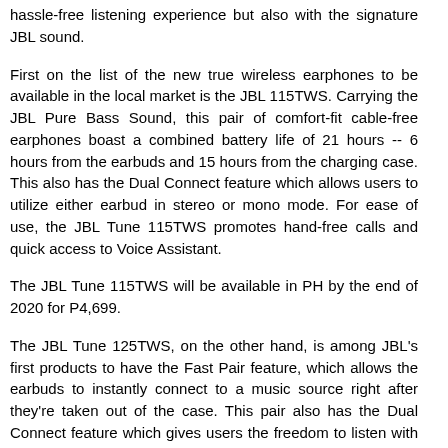hassle-free listening experience but also with the signature JBL sound.
First on the list of the new true wireless earphones to be available in the local market is the JBL 115TWS. Carrying the JBL Pure Bass Sound, this pair of comfort-fit cable-free earphones boast a combined battery life of 21 hours -- 6 hours from the earbuds and 15 hours from the charging case. This also has the Dual Connect feature which allows users to utilize either earbud in stereo or mono mode. For ease of use, the JBL Tune 115TWS promotes hand-free calls and quick access to Voice Assistant.
The JBL Tune 115TWS will be available in PH by the end of 2020 for P4,699.
The JBL Tune 125TWS, on the other hand, is among JBL's first products to have the Fast Pair feature, which allows the earbuds to instantly connect to a music source right after they're taken out of the case. This pair also has the Dual Connect feature which gives users the freedom to listen with either of the earbuds. With this, users can save the battery life of the JBL Tune 125TWS to further prolong its 8-hour music playback capability. This is on top of the 24-hour battery life this device has stored in its charging case.